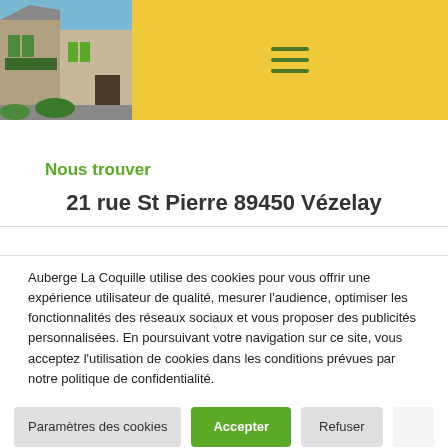[Figure (photo): Photo of a stone building facade (Auberge La Coquille) with green shutters and signage, displayed in the top-left header area]
≡ (hamburger menu icon)
Nous trouver
21 rue St Pierre 89450 Vézelay
Auberge La Coquille utilise des cookies pour vous offrir une expérience utilisateur de qualité, mesurer l'audience, optimiser les fonctionnalités des réseaux sociaux et vous proposer des publicités personnalisées. En poursuivant votre navigation sur ce site, vous acceptez l'utilisation de cookies dans les conditions prévues par notre politique de confidentialité.
Paramètres des cookies | Accepter | Refuser